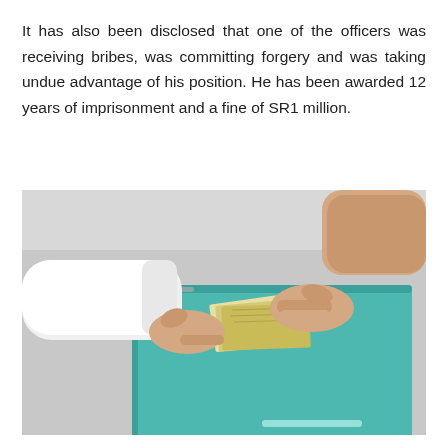It has also been disclosed that one of the officers was receiving bribes, was committing forgery and was taking undue advantage of his position. He has been awarded 12 years of imprisonment and a fine of SR1 million.
[Figure (photo): A photograph showing two hands exchanging cash money hidden inside a teal/turquoise colored folder or binder, placed on a light-colored surface, depicting a bribery scene.]